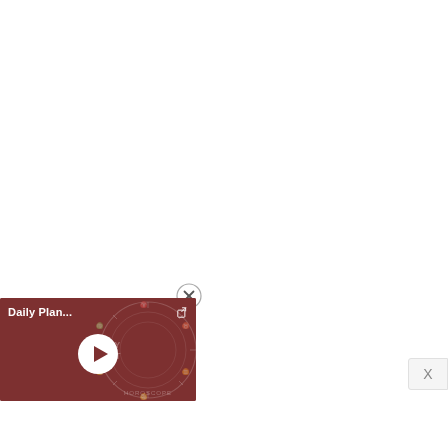[Figure (screenshot): A mini media player widget with a dark red/brown background showing 'Daily Plan...' title with a share icon, a circular play button in the center, and astrological/planetary forecast imagery in the background with text 'PLANETARY FORECAST' and 'HOROSCOPE'. There is a close (X) button circle above the widget and a dismiss X button at the bottom right.]